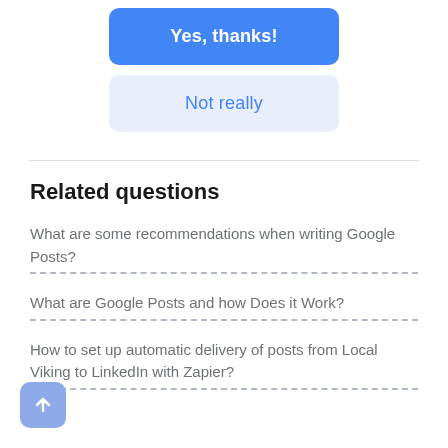Yes, thanks!
Not really
Related questions
What are some recommendations when writing Google Posts?
What are Google Posts and how Does it Work?
How to set up automatic delivery of posts from Local Viking to LinkedIn with Zapier?